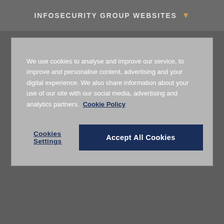INFOSECURITY GROUP WEBSITES
We use cookies to analyse and improve our service, to improve and personalise content, advertising and your digital experience. We also share information about your use of our site with our social media, advertising and analytics partners. Cookie Policy
Cookies Settings
Accept All Cookies
Comments   Community   Privacy Policy   Login
Favorite   Sort by Best
Start the discussion...
LOG IN WITH
[Figure (logo): Infosecurity logo — red block with italic 'info' in white, black block with 'security' in white]